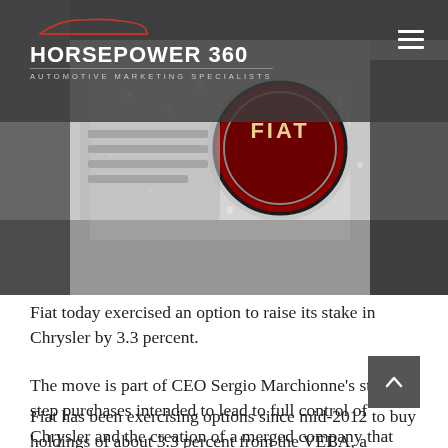HORSEPOWER 360 — AUTOMOTIVE MARKETING SPECIALISTS
[Figure (photo): Close-up photo of a Fiat badge/emblem on a wet car, showing the red and chrome circular Fiat logo with water droplets on the surrounding bodywork]
Fiat today exercised an option to raise its stake in Chrysler by 3.3 percent.
The move is part of CEO Sergio Marchionne's step-by-step purchases intended to lead to full control of Chrysler and the creation of a merged company that would be able to compete better with industry leaders Toyota, General Motors and Volkswagen.
Fiat has been exercising options since mid-2012 to buy holdings of about 3.3 percent from the VEBA, a medical-benefits trust for